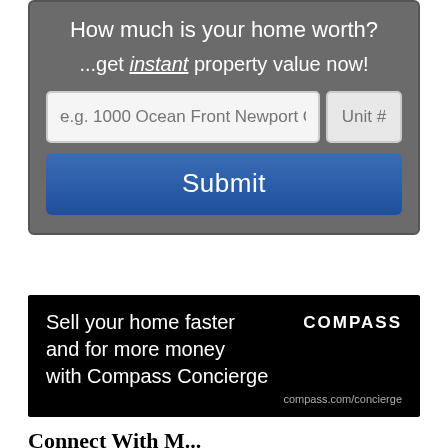How much is your home worth?
...get instant property value now!
[Figure (screenshot): Web widget with address input fields (e.g. 1000 Ocean Front Newport Coast, Unit #) and a blue Submit button on a gray background]
[Figure (infographic): Compass Concierge advertisement on black background: 'Sell your home faster and for more money with Compass Concierge' with COMPASS logo and compass.com/concierge URL]
Connect With M...